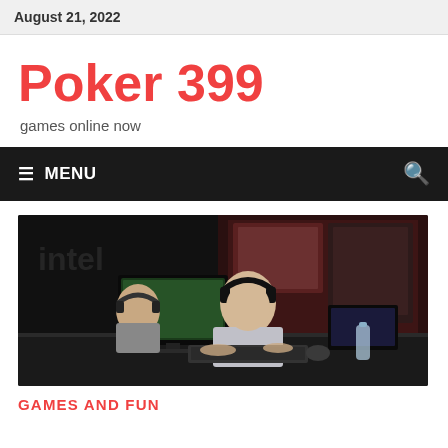August 21, 2022
Poker 399
games online now
≡ MENU
[Figure (photo): Two young men wearing headphones sitting at gaming computers in a dark esports venue. Monitors and large screens with a gaming interface visible in the background. A water bottle is on the desk.]
GAMES AND FUN